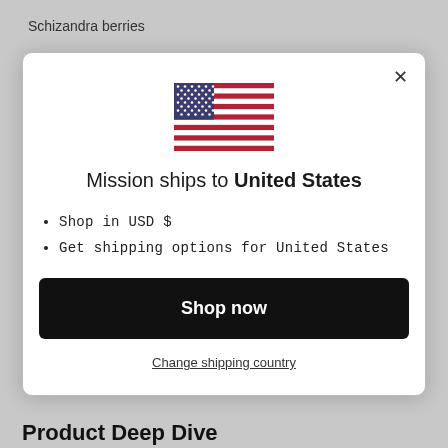Schizandra berries
[Figure (screenshot): Modal dialog showing US flag, 'Mission ships to United States' text, bullet points for USD and shipping options, a black 'Shop now' button, and a 'Change shipping country' link]
Product Deep Dive